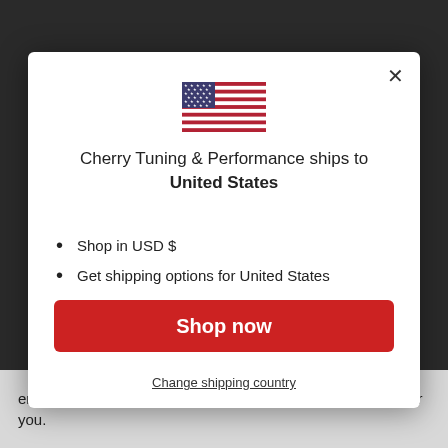[Figure (screenshot): US flag SVG icon centered at top of modal]
Cherry Tuning & Performance ships to United States
Shop in USD $
Get shipping options for United States
Shop now
Change shipping country
error. Please contact us and we can put the order through for you.